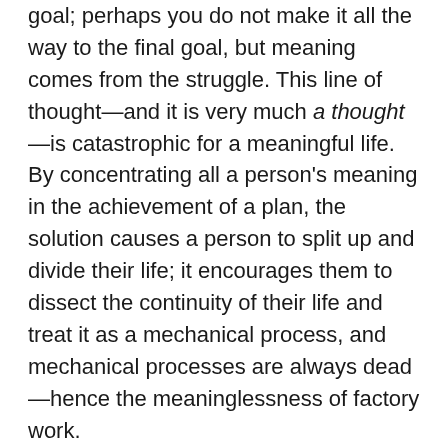goal; perhaps you do not make it all the way to the final goal, but meaning comes from the struggle. This line of thought—and it is very much a thought—is catastrophic for a meaningful life. By concentrating all a person's meaning in the achievement of a plan, the solution causes a person to split up and divide their life; it encourages them to dissect the continuity of their life and treat it as a mechanical process, and mechanical processes are always dead—hence the meaninglessness of factory work.

I suggest that people feel the greatest amount of meaning when they contemplate nature—when they look